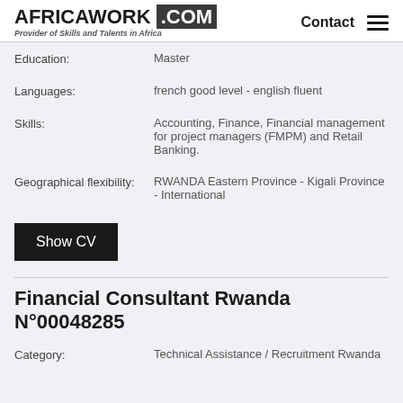AFRICAWORK .COM — Provider of Skills and Talents in Africa — Contact
Education: Master
Languages: french good level - english fluent
Skills: Accounting, Finance, Financial management for project managers (FMPM) and Retail Banking.
Geographical flexibility: RWANDA Eastern Province - Kigali Province - International
Show CV
Financial Consultant Rwanda N°00048285
Category: Technical Assistance / Recruitment Rwanda